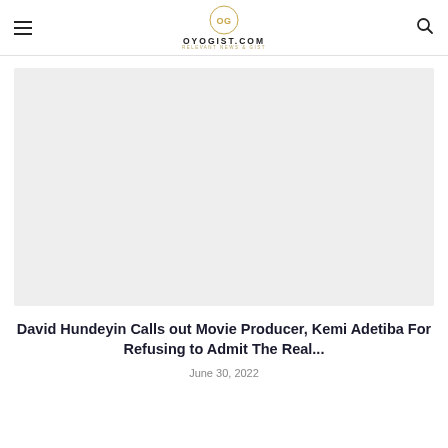OYOGIST.COM
[Figure (photo): Large light grey placeholder image area for an article]
David Hundeyin Calls out Movie Producer, Kemi Adetiba For Refusing to Admit The Real...
June 30, 2022